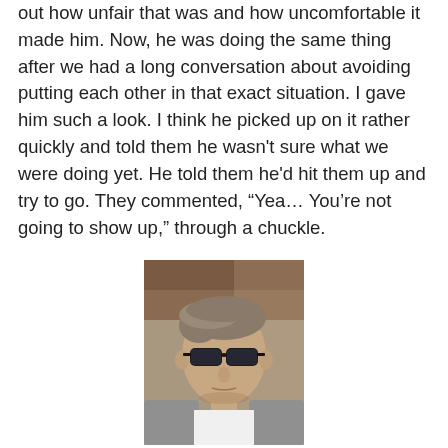out how unfair that was and how uncomfortable it made him. Now, he was doing the same thing after we had a long conversation about avoiding putting each other in that exact situation. I gave him such a look. I think he picked up on it rather quickly and told them he wasn't sure what we were doing yet. He told them he'd hit them up and try to go. They commented, “Yea… You’re not going to show up,” through a chuckle.
[Figure (photo): A man with short brown/grey hair wearing dark sunglasses and a white shirt, photographed from the shoulders up outdoors.]